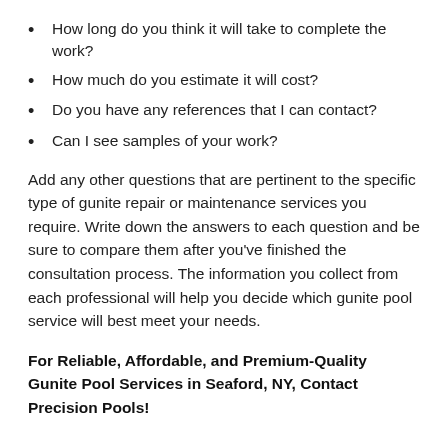How long do you think it will take to complete the work?
How much do you estimate it will cost?
Do you have any references that I can contact?
Can I see samples of your work?
Add any other questions that are pertinent to the specific type of gunite repair or maintenance services you require. Write down the answers to each question and be sure to compare them after you’ve finished the consultation process. The information you collect from each professional will help you decide which gunite pool service will best meet your needs.
For Reliable, Affordable, and Premium-Quality Gunite Pool Services in Seaford, NY, Contact Precision Pools!